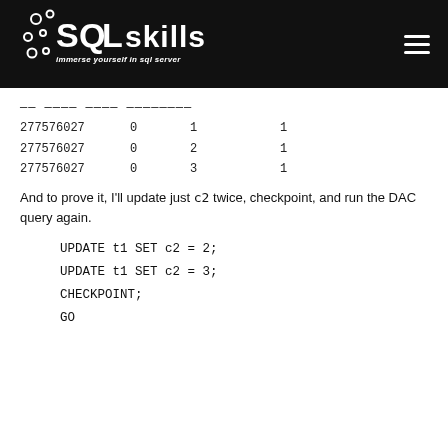SQLskills — immerse yourself in sql server
| 277576027 | 0 | 1 | 1 |
| 277576027 | 0 | 2 | 1 |
| 277576027 | 0 | 3 | 1 |
And to prove it, I'll update just c2 twice, checkpoint, and run the DAC query again.
UPDATE t1 SET c2 = 2;
UPDATE t1 SET c2 = 3;
CHECKPOINT;
GO